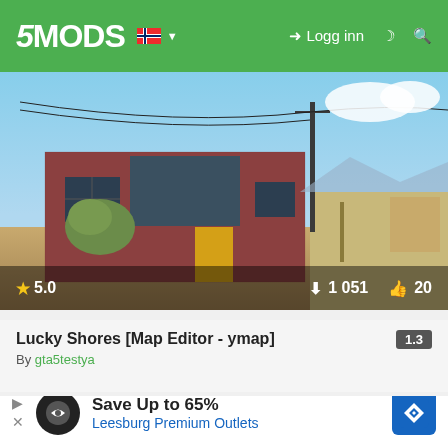5MODS  🇳🇴 ▼   Logg inn
[Figure (screenshot): Screenshot of a GTA V mod showing a brick building with yellow door, desert landscape, power pole, clear sky. Stats overlay: 5.0 stars, 1 051 downloads, 20 likes.]
Lucky Shores [Map Editor - ymap]
By gta5testya
[Figure (screenshot): Banner image for 'Paleto Bay aLive' mod with large red italic text 'Paleto Bay' and blue 'aLive', wind turbine on right, sky background. Close button X visible. Advertisement banner: Save Up to 65% Leesburg Premium Outlets.]